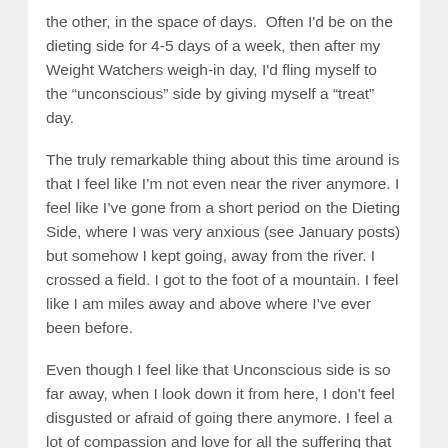the other, in the space of days.  Often I'd be on the dieting side for 4-5 days of a week, then after my Weight Watchers weigh-in day, I'd fling myself to the “unconscious” side by giving myself a “treat” day.
The truly remarkable thing about this time around is that I feel like I’m not even near the river anymore. I feel like I’ve gone from a short period on the Dieting Side, where I was very anxious (see January posts) but somehow I kept going, away from the river. I crossed a field. I got to the foot of a mountain. I feel like I am miles away and above where I’ve ever been before.
Even though I feel like that Unconscious side is so far away, when I look down it from here, I don’t feel disgusted or afraid of going there anymore. I feel a lot of compassion and love for all the suffering that happened when I was over there. It makes me sad. And I don’t feel tense OR self-righteous or anything